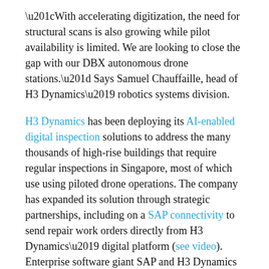“With accelerating digitization, the need for structural scans is also growing while pilot availability is limited. We are looking to close the gap with our DBX autonomous drone stations.” Says Samuel Chauffaille, head of H3 Dynamics’ robotics systems division.
H3 Dynamics has been deploying its AI-enabled digital inspection solutions to address the many thousands of high-rise buildings that require regular inspections in Singapore, most of which use using piloted drone operations. The company has expanded its solution through strategic partnerships, including on a SAP connectivity to send repair work orders directly from H3 Dynamics’ digital platform (see video). Enterprise software giant SAP and H3 Dynamics are now working together on an increasing number of industrial use cases.
Through its global partnership with air traffic control